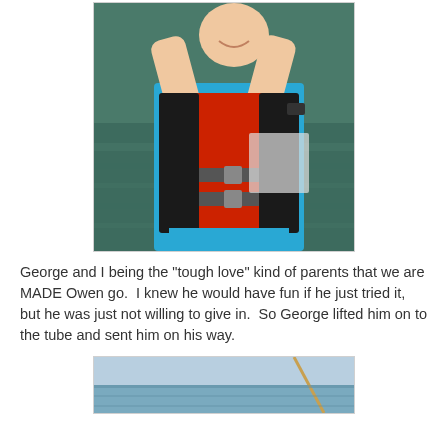[Figure (photo): A child wearing a red and black life jacket over a blue shirt, with arms raised, standing near water. The child appears to be smiling. Water is visible in the background.]
George and I being the "tough love" kind of parents that we are MADE Owen go.  I knew he would have fun if he just tried it, but he was just not willing to give in.  So George lifted him on to the tube and sent him on his way.
[Figure (photo): A partial photo showing what appears to be a water scene, partially visible at the bottom of the page.]